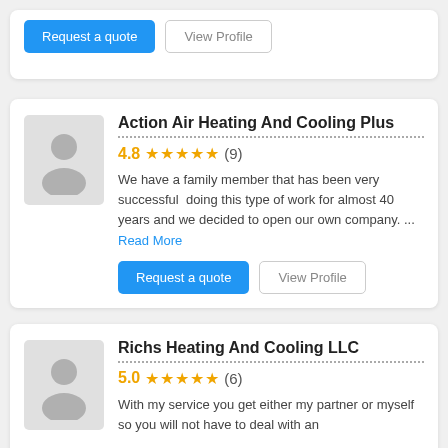Request a quote | View Profile
Action Air Heating And Cooling Plus
4.8 ★★★★★ (9)
We have a family member that has been very successful doing this type of work for almost 40 years and we decided to open our own company. ... Read More
Request a quote | View Profile
Richs Heating And Cooling LLC
5.0 ★★★★★ (6)
With my service you get either my partner or myself so you will not have to deal with an